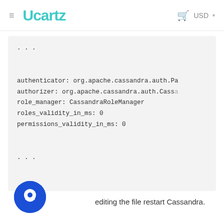≡  Ucartz   🛒  USD ▾
[Figure (screenshot): Code block showing Cassandra configuration snippet with authenticator, authorizer, role_manager, roles_validity_in_ms, permissions_validity_in_ms settings]
editing the file restart Cassandra.